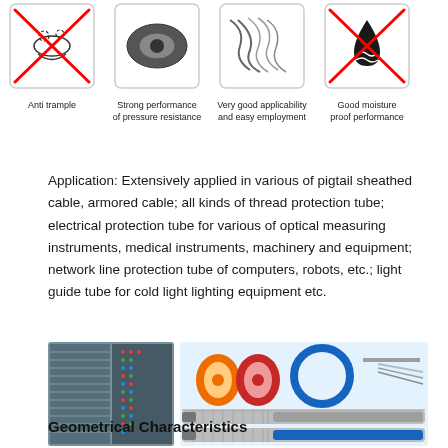[Figure (illustration): Four icons showing product features: Anti trample (shoes with X), Strong performance of pressure resistance (tire/wheel), Very good applicability and easy employment (wires/cables), Good moisture proof performance (water drop with X)]
Application: Extensively applied in various of pigtail sheathed cable, armored cable; all kinds of thread protection tube; electrical protection tube for various of optical measuring instruments, medical instruments, machinery and equipment; network line protection tube of computers, robots, etc.; light guide tube for cold light lighting equipment etc.
[Figure (photo): Two photos side by side: left shows server rack/patch panel with cables, right shows fiber optic cable products including spools, coiled cables, and armored cables]
Geometrical Characteristics